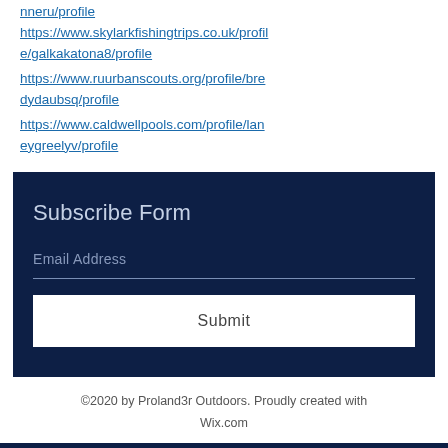https://www.skylarkfishingtrips.co.uk/profile/galkakatona8/profile
https://www.ruurbanscouts.org/profile/bredydaubsq/profile
https://www.caldwellpools.com/profile/laneygreelyv/profile
Subscribe Form
Email Address
Submit
©2020 by Proland3r Outdoors. Proudly created with Wix.com